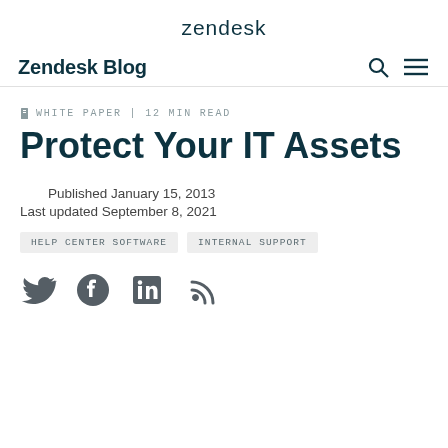zendesk
Zendesk Blog
WHITE PAPER | 12 MIN READ
Protect Your IT Assets
Published January 15, 2013
Last updated September 8, 2021
HELP CENTER SOFTWARE   INTERNAL SUPPORT
[Figure (illustration): Social media sharing icons: Twitter bird, Facebook f, LinkedIn in, RSS feed]